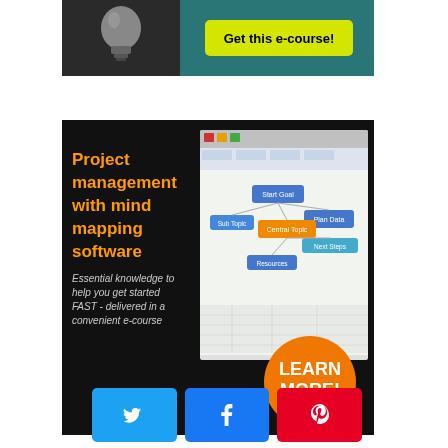[Figure (screenshot): Partial top e-course banner with lightbulb icon on dark background and yellow 'Get this e-course!' button on teal background]
[Figure (infographic): Project management with mind mapping software e-course ad. Black background, orange bold title text, italic white subtitle text, screenshot of mind mapping software, and orange 'LEARN MORE!' circle button.]
ADVANCED RESOURCES
[Figure (other): Social sharing buttons row: Twitter (blue), Facebook (dark blue), Pinterest (red)]